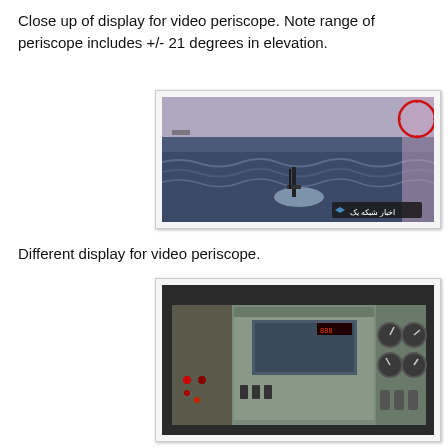Close up of display for video periscope. Note range of periscope includes +/- 21 degrees in elevation.
[Figure (photo): Close-up video periscope display showing ocean surface from submarine perspective with a vessel visible in distance. Red circle/crosshair overlay in upper right. Arabic text watermark in lower right corner.]
Different display for video periscope.
[Figure (photo): Interior control panel display for video periscope system showing instrument panels, gauges, switches and control equipment inside a submarine or vessel.]